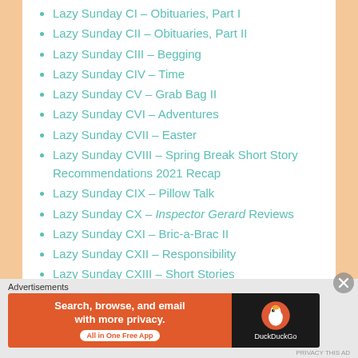Lazy Sunday CI – Obituaries, Part I
Lazy Sunday CII – Obituaries, Part II
Lazy Sunday CIII – Begging
Lazy Sunday CIV – Time
Lazy Sunday CV – Grab Bag II
Lazy Sunday CVI – Adventures
Lazy Sunday CVII – Easter
Lazy Sunday CVIII – Spring Break Short Story Recommendations 2021 Recap
Lazy Sunday CIX – Pillow Talk
Lazy Sunday CX – Inspector Gerard Reviews
Lazy Sunday CXI – Bric-a-Brac II
Lazy Sunday CXII – Responsibility
Lazy Sunday CXIII – Short Stories
Lazy Sunday CXIV – More Movies IV: Movie
Advertisements
[Figure (screenshot): DuckDuckGo advertisement banner: orange left panel with text 'Search, browse, and email with more privacy. All in One Free App' and dark right panel with DuckDuckGo logo and duck icon.]